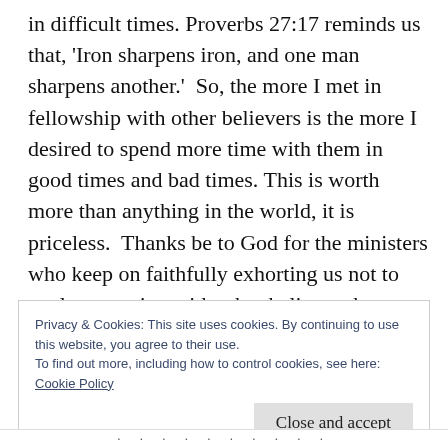in difficult times. Proverbs 27:17 reminds us that, 'Iron sharpens iron, and one man sharpens another.'  So, the more I met in fellowship with other believers is the more I desired to spend more time with them in good times and bad times. This is worth more than anything in the world, it is priceless.  Thanks be to God for the ministers who keep on faithfully exhorting us not to neglect meeting with other believers because it is worthwhile.
Privacy & Cookies: This site uses cookies. By continuing to use this website, you agree to their use.
To find out more, including how to control cookies, see here:
Cookie Policy
Close and accept